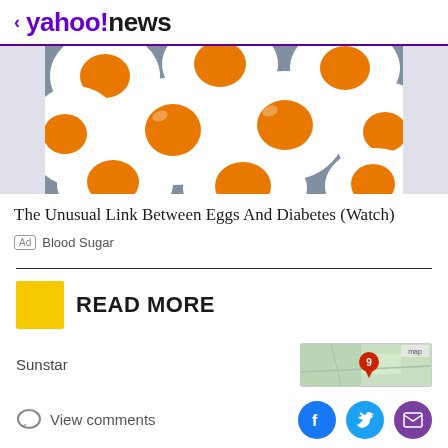< yahoo!news
[Figure (photo): Close-up photo of multiple fried eggs sunny-side up, showing white egg whites with bright orange/yellow yolks]
The Unusual Link Between Eggs And Diabetes (Watch)
Ad  Blood Sugar
READ MORE
Sunstar
[Figure (map): Small map thumbnail showing a location marked with number 9]
View comments
[Figure (other): Social media sharing icons: Facebook, Twitter, Email]